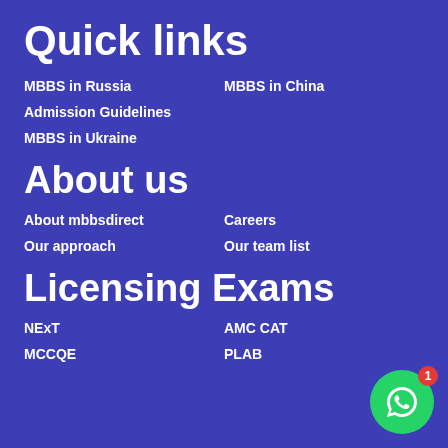Quick links
MBBS in Russia
MBBS in China
Admission Guidelines
MBBS in Ukraine
About us
About mbbsdirect
Careers
Our approach
Our team list
Licensing Exams
NExT
AMC CAT
MCCQE
PLAB